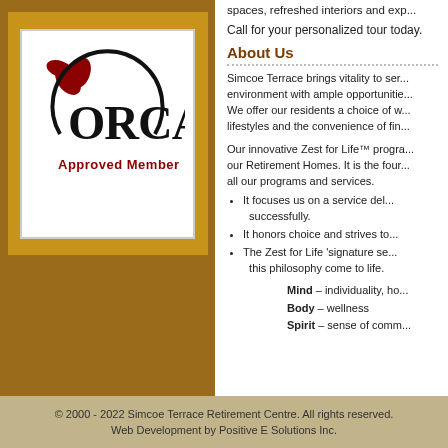[Figure (logo): ORCA Approved Member logo — circular logo with leaf/clover design and text 'ORCA Approved Member' on a white badge inside a gold/brown border]
spaces, refreshed interiors and exp...
Call for your personalized tour today.
About Us
Simcoe Terrace brings vitality to senior living. We provide an environment with ample opportunities. We offer our residents a choice of wellness lifestyles and the convenience of fine...
Our innovative Zest for Life™ program is at the heart of our Retirement Homes. It is the foundation that guides all our programs and services.
It focuses us on a service delivery that helps residents live successfully.
It honors choice and strives to...
The Zest for Life 'signature services' help make this philosophy come to life.
Mind – individuality, ho...
Body – wellness
Spirit – sense of comm...
© 2000 - 2022 Simcoe Terrace Retirement Centre. All rights reserved.
Web Development by Positive E Solutions Inc.